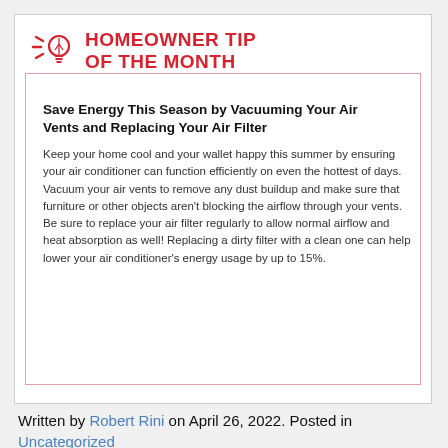[Figure (logo): Homeowner Tip of the Month logo: red lightbulb icon with dashes on the left, and red bold text reading HOMEOWNER TIP OF THE MONTH]
Save Energy This Season by Vacuuming Your Air Vents and Replacing Your Air Filter
Keep your home cool and your wallet happy this summer by ensuring your air conditioner can function efficiently on even the hottest of days. Vacuum your air vents to remove any dust buildup and make sure that furniture or other objects aren't blocking the airflow through your vents. Be sure to replace your air filter regularly to allow normal airflow and heat absorption as well! Replacing a dirty filter with a clean one can help lower your air conditioner's energy usage by up to 15%.
Written by Robert Rini on April 26, 2022. Posted in Uncategorized
Trackback from your site.